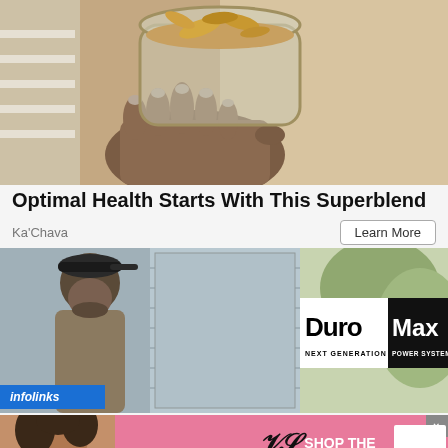[Figure (photo): Advertisement photo showing a hand holding a glass jar filled with oatmeal/superblend mixture topped with oats and granola]
Optimal Health Starts With This Superblend
Ka'Chava
Learn More
[Figure (photo): DuroMax Next Generation Power Systems advertisement showing a man in a backwards cap and a garage background with DuroMax logo]
infolinks
[Figure (photo): Victoria's Secret advertisement with a model, VS logo, text SHOP THE COLLECTION, and SHOP NOW button on pink background]